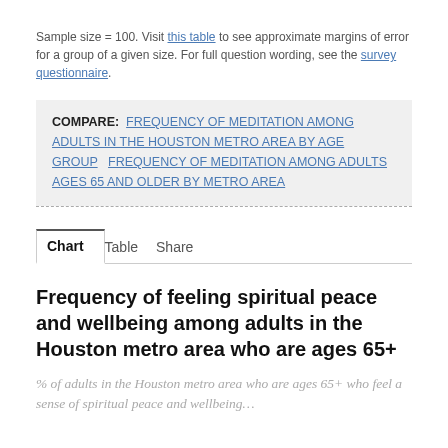Sample size = 100. Visit this table to see approximate margins of error for a group of a given size. For full question wording, see the survey questionnaire.
COMPARE: FREQUENCY OF MEDITATION AMONG ADULTS IN THE HOUSTON METRO AREA BY AGE GROUP   FREQUENCY OF MEDITATION AMONG ADULTS AGES 65 AND OLDER BY METRO AREA
Chart   Table   Share
Frequency of feeling spiritual peace and wellbeing among adults in the Houston metro area who are ages 65+
% of adults in the Houston metro area who are ages 65+ who feel a sense of spiritual peace and wellbeing...